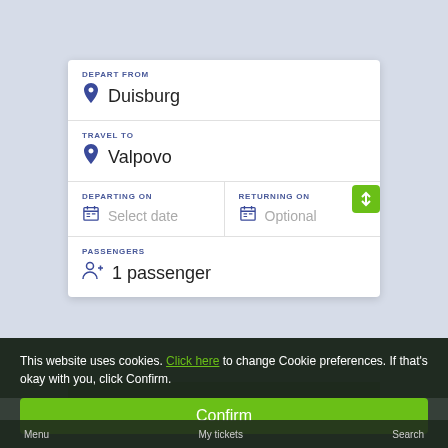[Figure (screenshot): Travel booking search form with fields: Depart From (Duisburg), Travel To (Valpovo), Departing On (Select date), Returning On (Optional), Passengers (1 passenger), Search button, cookie consent bar with Confirm button, and bottom navigation bar with Menu, My tickets, Search.]